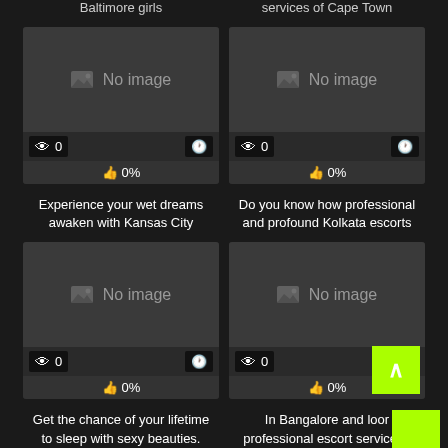Baltimore girls | services of Cape Town
[Figure (screenshot): Card with no image, 0 views, 0%, titled Experience your wet dreams awaken with Kansas City]
[Figure (screenshot): Card with no image, 0 views, 0%, titled Do you know how professional and profound Kolkata escorts]
Experience your wet dreams awaken with Kansas City
Do you know how professional and profound Kolkata escorts
[Figure (screenshot): Card with no image, 0 views, 0%, titled Get the chance of your lifetime to sleep with sexy beauties.]
[Figure (screenshot): Card with no image, 0 views, 0%, titled In Bangalore and looking for professional escort services?]
Get the chance of your lifetime to sleep with sexy beauties.
In Bangalore and looking for professional escort services?